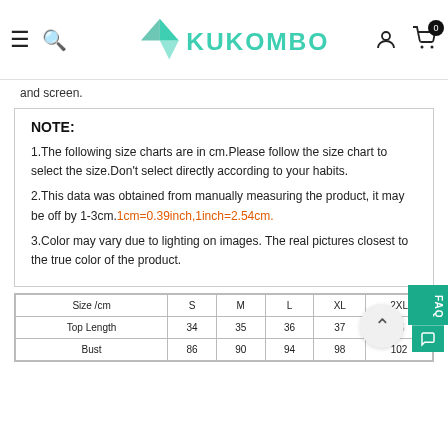Kukombo — navigation header with menu, search, logo, account, and cart (0 items)
and screen.
NOTE:
1.The following size charts are in cm.Please follow the size chart to select the size.Don't select directly according to your habits.
2.This data was obtained from manually measuring the product, it may be off by 1-3cm. 1cm=0.39inch,1inch=2.54cm.
3.Color may vary due to lighting on images. The real pictures closest to the true color of the product.
| Size /cm | S | M | L | XL | 2XL |
| --- | --- | --- | --- | --- | --- |
| Top Length | 34 | 35 | 36 | 37 | 38 |
| Bust | 86 | 90 | 94 | 98 | 102 |